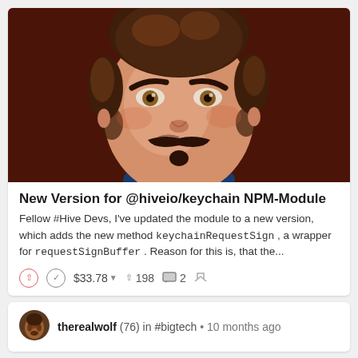[Figure (illustration): Cartoon/illustrated avatar of a person with brown curly hair, mustache and small beard, on a dark red background. Close-up face portrait in stylized illustration style.]
New Version for @hiveio/keychain NPM-Module
Fellow #Hive Devs, I've updated the module to a new version, which adds the new method keychainRequestSign , a wrapper for requestSignBuffer . Reason for this is, that the...
^ v  $33.78 ▼   ^ 198   🗨 2   ↩
therealwolf (76) in #bigtech • 10 months ago